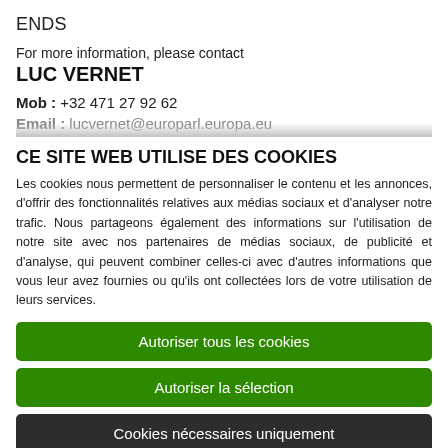ENDS
For more information, please contact
LUC VERNET
Mob : +32 471 27 92 62
Email: lucvernet@europarl.europa.eu
CE SITE WEB UTILISE DES COOKIES
Les cookies nous permettent de personnaliser le contenu et les annonces, d'offrir des fonctionnalités relatives aux médias sociaux et d'analyser notre trafic. Nous partageons également des informations sur l'utilisation de notre site avec nos partenaires de médias sociaux, de publicité et d'analyse, qui peuvent combiner celles-ci avec d'autres informations que vous leur avez fournies ou qu'ils ont collectées lors de votre utilisation de leurs services.
Autoriser tous les cookies
Autoriser la sélection
Cookies nécessaires uniquement
Nécessaires  Préférences  Statistiques  Marketing  Afficher les détails